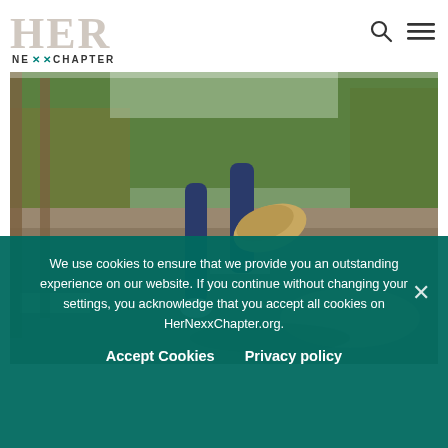[Figure (logo): HER NEXX CHAPTER logo — large 'HER' in light gray serif, 'NEXX CHAPTER' below in smaller text with teal X marks]
[Figure (photo): Person running on an asphalt road in a park, shot from low angle showing legs and shoes, trees and green grass in background]
We use cookies to ensure that we provide you an outstanding experience on our website. If you continue without changing your settings, you acknowledge that you accept all cookies on HerNexxChapter.org.
Accept Cookies   Privacy policy